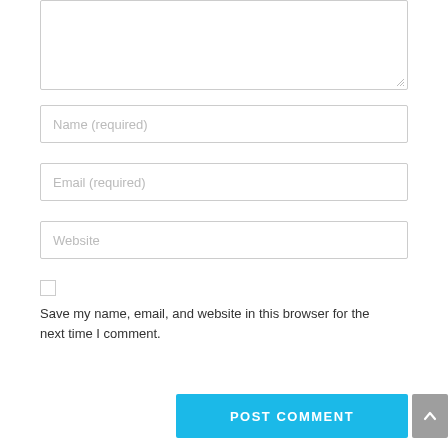[Figure (screenshot): Text area input box (comment textarea), partially visible at top of page]
Name (required)
Email (required)
Website
Save my name, email, and website in this browser for the next time I comment.
POST COMMENT